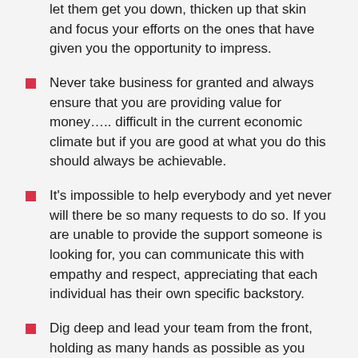let them get you down, thicken up that skin and focus your efforts on the ones that have given you the opportunity to impress.
Never take business for granted and always ensure that you are providing value for money….. difficult in the current economic climate but if you are good at what you do this should always be achievable.
It's impossible to help everybody and yet never will there be so many requests to do so. If you are unable to provide the support someone is looking for, you can communicate this with empathy and respect, appreciating that each individual has their own specific backstory.
Dig deep and lead your team from the front, holding as many hands as possible as you mount each hurdle together.